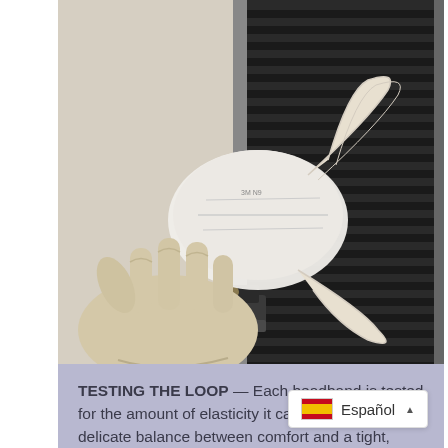[Figure (photo): A gloved hand holding a white N95 respirator mask against a black ventilation grill/test apparatus during a loop elasticity test.]
TESTING THE LOOP — Each headband is tested for the amount of elasticity it can withstand. It's a delicate balance between comfort and a tight, secure fit.
[Figure (photo): A precision digital scale/weighing machine with a glass panel, showing numeric display, in a laboratory setting.]
Español